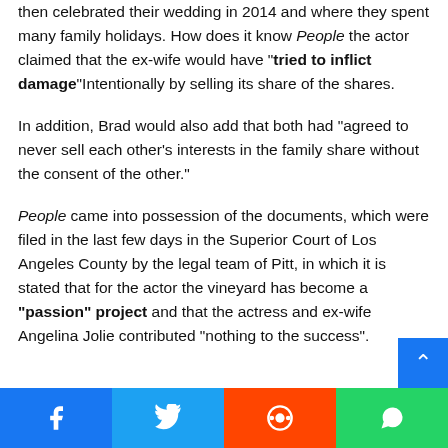then celebrated their wedding in 2014 and where they spent many family holidays. How does it know People the actor claimed that the ex-wife would have "tried to inflict damage"Intentionally by selling its share of the shares.
In addition, Brad would also add that both had "agreed to never sell each other's interests in the family share without the consent of the other."
People came into possession of the documents, which were filed in the last few days in the Superior Court of Los Angeles County by the legal team of Pitt, in which it is stated that for the actor the vineyard has become a "passion" project and that the actress and ex-wife Angelina Jolie contributed "nothing to the success".